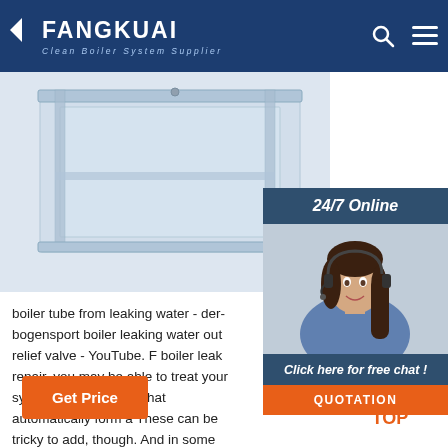FANGKUAI - Clean Boiler System Supplier
[Figure (photo): Transparent/glass boiler or water tank product image on white/light blue background]
[Figure (photo): 24/7 Online customer service panel with photo of woman with headset, Click here for free chat button, and QUOTATION button]
boiler tube from leaking water - der-bogensport boiler leaking water out relief valve - YouTube. F boiler leak repair, you may be able to treat your system with additives that automatically form a These can be tricky to add, though. And in some boiler leak sealer is like applying a plaster to a w
Get Price
[Figure (other): TOP navigation button with orange dotted arrow pointing up and orange TOP text]